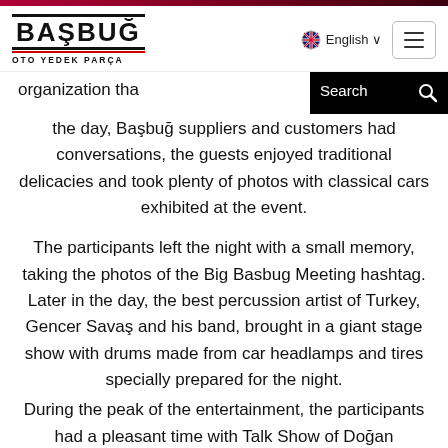[Figure (logo): Basbug Oto Yedek Parca logo with bold uppercase text and red underline, navigation bar with English language selector and hamburger menu button]
[Figure (screenshot): Search bar overlay in black with placeholder text 'Search' and search icon button]
organization tha… the day, Başbuğ suppliers and customers had conversations, the guests enjoyed traditional delicacies and took plenty of photos with classical cars exhibited at the event.
The participants left the night with a small memory, taking the photos of the Big Basbug Meeting hashtag. Later in the day, the best percussion artist of Turkey, Gencer Savaş and his band, brought in a giant stage show with drums made from car headlamps and tires specially prepared for the night.
During the peak of the entertainment, the participants had a pleasant time with Talk Show of Doğan Akdoğan, Onur Atilla and Okan Cabalar who are known from a famous TV